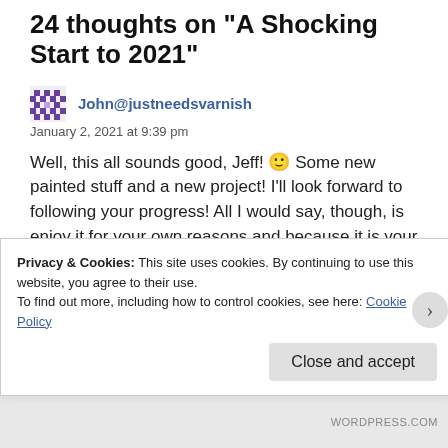24 thoughts on "A Shocking Start to 2021"
John@justneedsvarnish
January 2, 2021 at 9:39 pm
Well, this all sounds good, Jeff! 🙂 Some new painted stuff and a new project! I'll look forward to following your progress! All I would say, though, is enjoy it for your own reasons and because it is your hobby!
Privacy & Cookies: This site uses cookies. By continuing to use this website, you agree to their use.
To find out more, including how to control cookies, see here: Cookie Policy
Close and accept